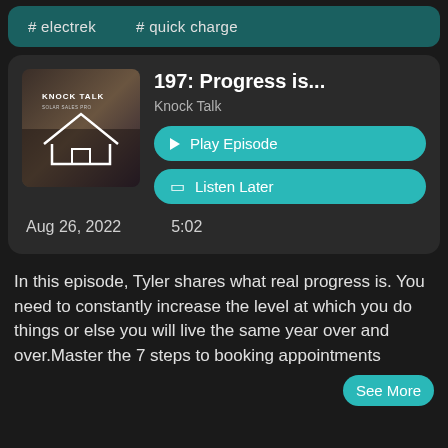# electrek
# quick charge
197: Progress is...
Knock Talk
Play Episode
Listen Later
Aug 26, 2022  5:02
In this episode, Tyler shares what real progress is. You need to constantly increase the level at which you do things or else you will live the same year over and over.Master the 7 steps to booking appointments
See More